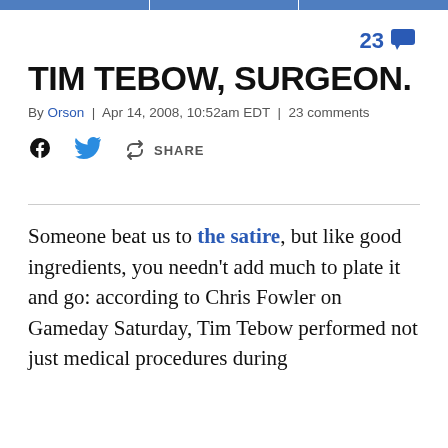23 comments
TIM TEBOW, SURGEON.
By Orson | Apr 14, 2008, 10:52am EDT | 23 comments
SHARE
Someone beat us to the satire, but like good ingredients, you needn't add much to plate it and go: according to Chris Fowler on Gameday Saturday, Tim Tebow performed not just medical procedures during